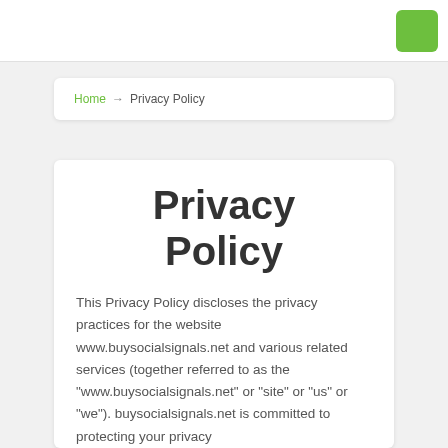Home → Privacy Policy
Privacy Policy
This Privacy Policy discloses the privacy practices for the website www.buysocialsignals.net and various related services (together referred to as the "www.buysocialsignals.net" or "site" or "us" or "we"). buysocialsignals.net is committed to protecting your privacy